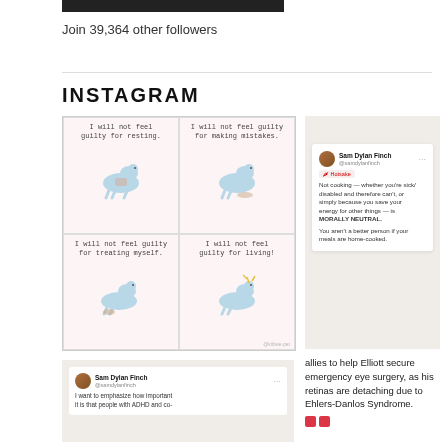Join 39,364 other followers
INSTAGRAM
[Figure (illustration): Four-panel comic grid with blue dinosaur characters. Panel 1: 'I will not feel guilty for resting.' Panel 2: 'I will not feel guilty for making mistakes.' Panel 3: 'I will not feel guilty for treating myself.' Panel 4: 'I will not feel guilty for living!']
[Figure (screenshot): Instagram post screenshot by Sam Dylan Finch (@samdylanfinch) with Hotsake tag. Text: 'Not cooking — whether you're sick/disabled and therefore can't, or simply because you save your energy for other things — is MORALLY NEUTRAL. You aren't a better person if your meals are home-cooked.']
[Figure (screenshot): Instagram post screenshot by Sam Dylan Finch (@samdylanfinch). Text: 'I want to emphasize how important it is that people with ADHD and co-']
allies to help Elliott secure emergency eye surgery, as his retinas are detaching due to Ehlers-Danlos Syndrome.